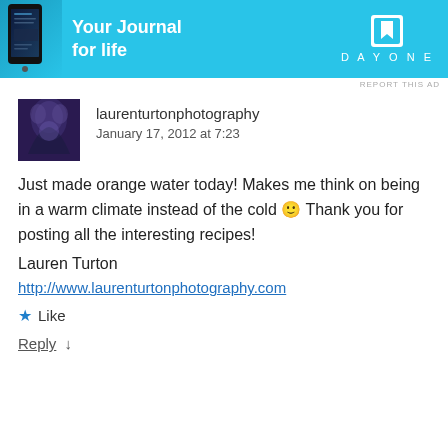[Figure (screenshot): Day One app advertisement banner with cyan background, phone image, text 'Your Journal for life' and DAYONE logo]
REPORT THIS AD
laurenturtonphotography
January 17, 2012 at 7:23
Just made orange water today! Makes me think on being in a warm climate instead of the cold 🙂 Thank you for posting all the interesting recipes!

Lauren Turton

http://www.laurenturtonphotography.com
★ Like
Reply ↓